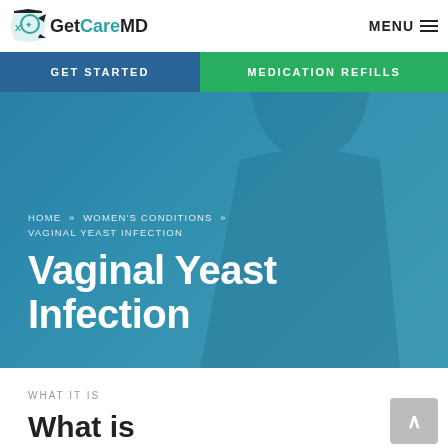GetCareMD — MENU
GET STARTED | MEDICATION REFILLS
[Figure (screenshot): Hero banner with teal/blue overlay showing a person in background, with breadcrumb navigation and page title]
HOME » WOMEN'S CONDITIONS » VAGINAL YEAST INFECTION
Vaginal Yeast Infection
WHAT IT IS
What is Vaginal Yeast Infection